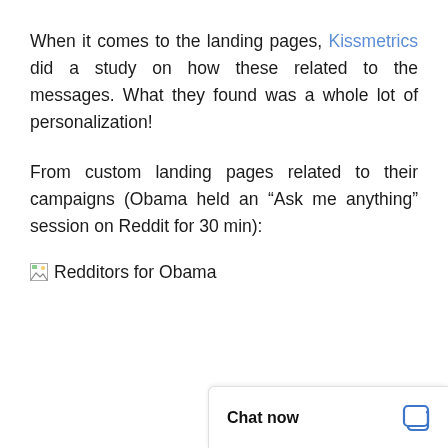When it comes to the landing pages, Kissmetrics did a study on how these related to the messages. What they found was a whole lot of personalization!
From custom landing pages related to their campaigns (Obama held an “Ask me anything” session on Reddit for 30 min):
[Figure (other): Broken image placeholder with alt text 'Redditors for Obama']